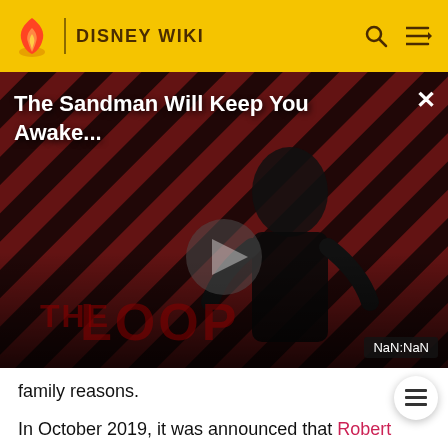DISNEY WIKI
[Figure (screenshot): Video thumbnail for 'The Sandman Will Keep You Awake...' showing a dark figure in a red/black striped background with THE LOOP logo, a play button in the center, and NaN:NaN timestamp badge]
family reasons.
In October 2019, it was announced that Robert Zemeckis was in talks to replace King as director, while Chris Weitz had written a new script along with King and Simon Farnaby.[6] Chris Weitz will also produce the film with